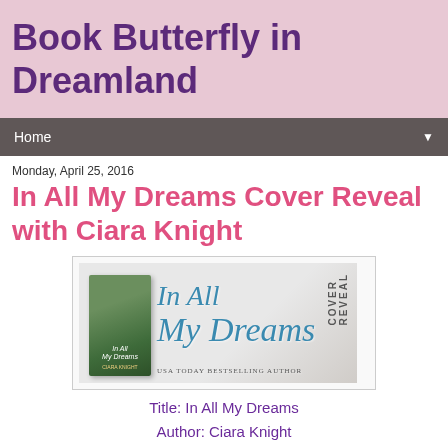Book Butterfly in Dreamland
Home
Monday, April 25, 2016
In All My Dreams Cover Reveal with Ciara Knight
[Figure (illustration): Cover reveal banner image for 'In All My Dreams' by Ciara Knight, showing a book cover on the left and decorative script title text with 'COVER REVEAL' text on the right]
Title: In All My Dreams
Author: Ciara Knight
Genre: Sweet Contemporary Romance